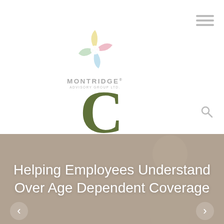[Figure (logo): Montridge Advisory Group Ltd. logo with colorful pinwheel/star graphic and company name text]
C
Helping Employees Understand Over Age Dependent Coverage